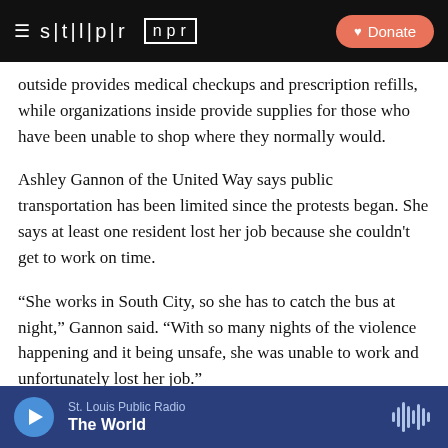stlpr | npr  Donate
outside provides medical checkups and prescription refills, while organizations inside provide supplies for those who have been unable to shop where they normally would.
Ashley Gannon of the United Way says public transportation has been limited since the protests began. She says at least one resident lost her job because she couldn't get to work on time.
“She works in South City, so she has to catch the bus at night,” Gannon said. “With so many nights of the violence happening and it being unsafe, she was unable to work and unfortunately lost her job.”
St. Louis Public Radio
The World